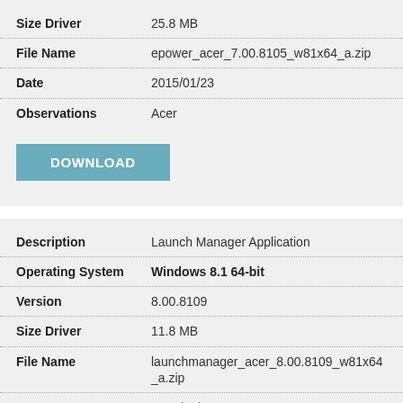| Field | Value |
| --- | --- |
| Size Driver | 25.8 MB |
| File Name | epower_acer_7.00.8105_w81x64_a.zip |
| Date | 2015/01/23 |
| Observations | Acer |
DOWNLOAD
| Field | Value |
| --- | --- |
| Description | Launch Manager Application |
| Operating System | Windows 8.1 64-bit |
| Version | 8.00.8109 |
| Size Driver | 11.8 MB |
| File Name | launchmanager_acer_8.00.8109_w81x64_a.zip |
| Date | 2015/01/23 |
| Observations | Acer |